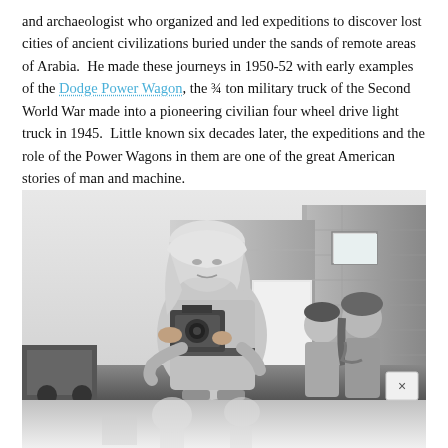and archaeologist who organized and led expeditions to discover lost cities of ancient civilizations buried under the sands of remote areas of Arabia.  He made these journeys in 1950-52 with early examples of the Dodge Power Wagon, the ¾ ton military truck of the Second World War made into a pioneering civilian four wheel drive light truck in 1945.  Little known six decades later, the expeditions and the role of the Power Wagons in them are one of the great American stories of man and machine.
[Figure (photo): Black and white photograph of a man wearing a head covering and holding a large camera, standing in front of a desert building with rough stone/mud brick walls. Two children stand behind him to the right. A partial view of a vehicle is visible on the left. A small close/X button appears in the lower right corner of the image.]
[Figure (photo): Partial black and white photograph visible at the bottom of the page, showing a faded/light desert scene, appears to be a second photo partially shown.]